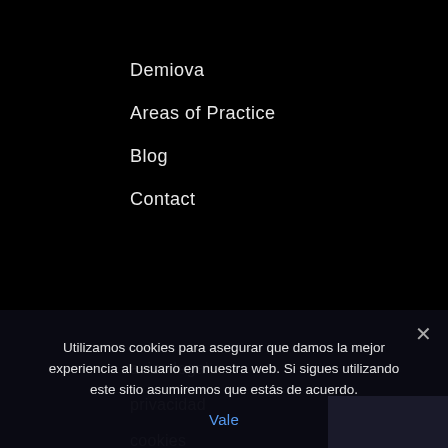Demiova
Areas of Practice
Blog
Contact
aviso legal
privacidad
cookies
[Figure (illustration): Facebook logo icon (letter f) in white on black background]
Utilizamos cookies para asegurar que damos la mejor experiencia al usuario en nuestra web. Si sigues utilizando este sitio asumiremos que estás de acuerdo.
Vale